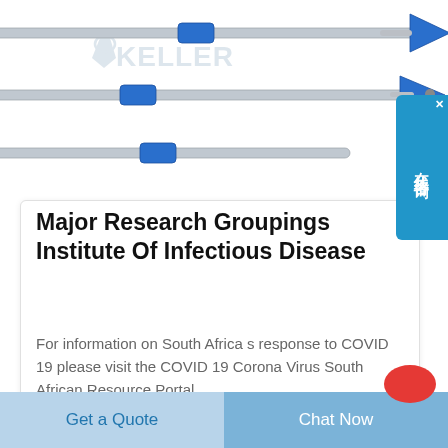[Figure (photo): Engineering/drilling equipment (rods with blue fittings and anchor heads) over a white background with a faded KELLER watermark logo]
[Figure (screenshot): Blue side button with Chinese characters reading 在线咨询 (Online Consultation) with an X close button in the top right corner]
Major Research Groupings Institute Of Infectious Disease
For information on South Africa s response to COVID 19 please visit the COVID 19 Corona Virus South African Resource Portal
Get a Quote
Chat Now